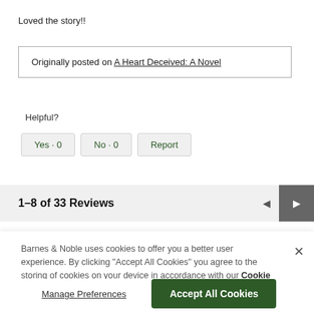Loved the story!!
Originally posted on A Heart Deceived: A Novel
Helpful?
Yes · 0
No · 0
Report
1–8 of 33 Reviews
Barnes & Noble uses cookies to offer you a better user experience. By clicking "Accept All Cookies" you agree to the storing of cookies on your device in accordance with our Cookie Policy
Manage Preferences
Accept All Cookies